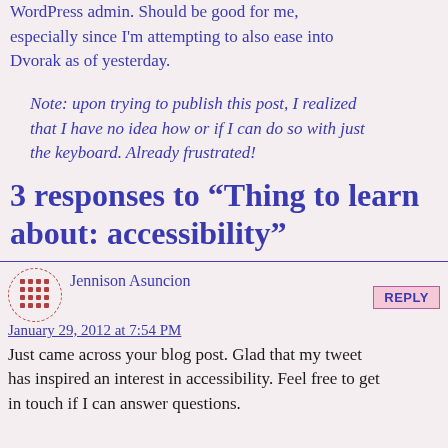WordPress admin. Should be good for me, especially since I'm attempting to also ease into Dvorak as of yesterday.
Note: upon trying to publish this post, I realized that I have no idea how or if I can do so with just the keyboard. Already frustrated!
3 responses to “Thing to learn about: accessibility”
Jennison Asuncion
January 29, 2012 at 7:54 PM
Just came across your blog post. Glad that my tweet has inspired an interest in accessibility. Feel free to get in touch if I can answer questions.